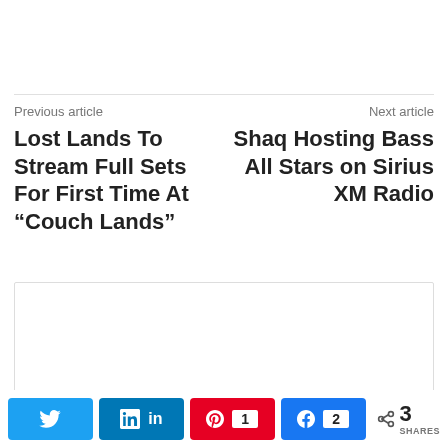Previous article
Lost Lands To Stream Full Sets For First Time At “Couch Lands”
Next article
Shaq Hosting Bass All Stars on Sirius XM Radio
[Figure (other): Advertisement placeholder box with border]
Twitter share button
LinkedIn share button
Pinterest share button, count: 1
Facebook share button, count: 2
3 SHARES